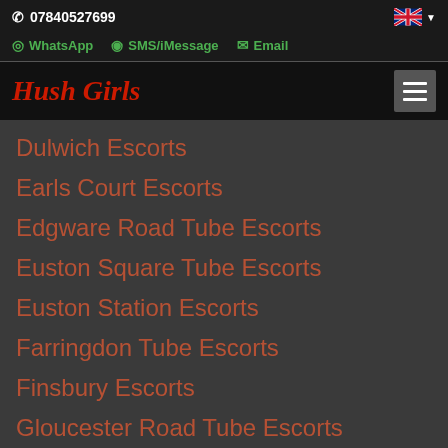07840527699
WhatsApp | SMS/iMessage | Email
Hush Girls
Dulwich Escorts
Earls Court Escorts
Edgware Road Tube Escorts
Euston Square Tube Escorts
Euston Station Escorts
Farringdon Tube Escorts
Finsbury Escorts
Gloucester Road Tube Escorts
Goodge Street Tube Escorts
Great Portland Street Tube Escorts
Green Park Tube Escorts